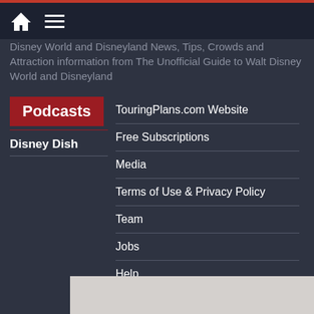Disney World and Disneyland News, Tips, Crowds and Attraction information from The Unofficial Guide to Walt Disney World and Disneyland
Podcasts
Disney Dish
TouringPlans.com Website
Free Subscriptions
Media
Terms of Use & Privacy Policy
Team
Jobs
Help